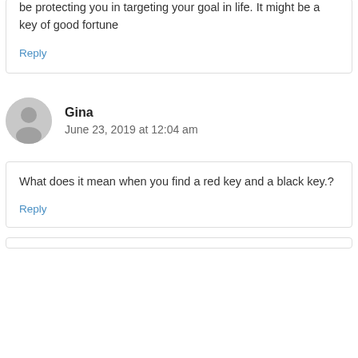be protecting you in targeting your goal in life. It might be a key of good fortune
Reply
Gina
June 23, 2019 at 12:04 am
What does it mean when you find a red key and a black key.?
Reply